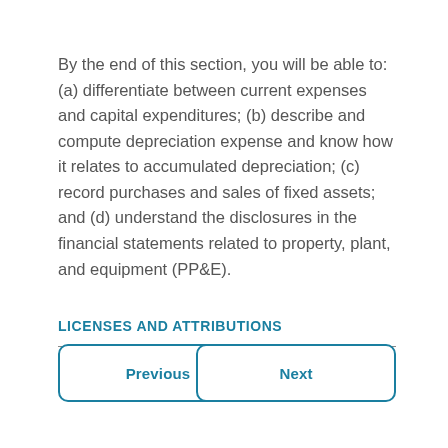By the end of this section, you will be able to: (a) differentiate between current expenses and capital expenditures; (b) describe and compute depreciation expense and know how it relates to accumulated depreciation; (c) record purchases and sales of fixed assets; and (d) understand the disclosures in the financial statements related to property, plant, and equipment (PP&E).
LICENSES AND ATTRIBUTIONS